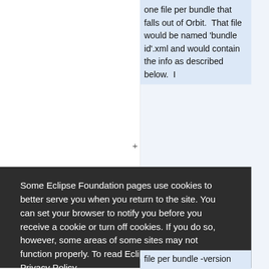one file per bundle that falls out of Orbit.  That file would be named 'bundle id'.xml and would contain the info as described below.  I
Some Eclipse Foundation pages use cookies to better serve you when you return to the site. You can set your browser to notify you before you receive a cookie or turn off cookies. If you do so, however, some areas of some sites may not function properly. To read Eclipse Foundation Privacy Policy
click here.
Decline
Allow cookies
file per bundle -version